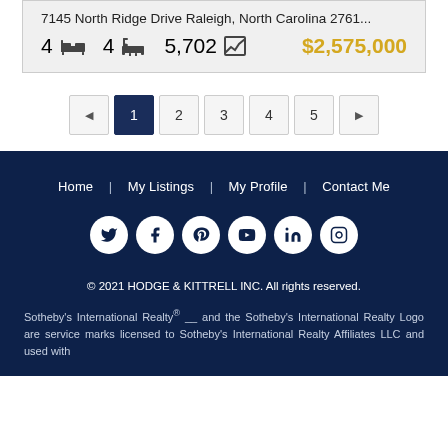7145 North Ridge Drive Raleigh, North Carolina 2761...
4  [bed icon]  4  [bath icon]  5,702  [sqft icon]  $2,575,000
◄  1  2  3  4  5  ►
Home  |  My Listings  |  My Profile  |  Contact Me
[Figure (infographic): Social media icons: Twitter, Facebook, Pinterest, YouTube, LinkedIn, Instagram — white circles on dark navy background]
© 2021 HODGE & KITTRELL INC. All rights reserved.
Sotheby's International Realty® __ and the Sotheby's International Realty Logo are service marks licensed to Sotheby's International Realty Affiliates LLC and used with